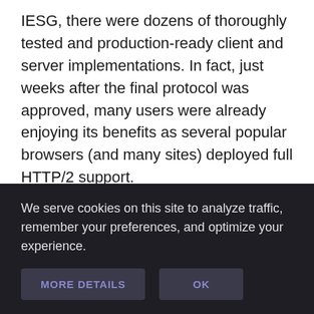IESG, there were dozens of thoroughly tested and production-ready client and server implementations. In fact, just weeks after the final protocol was approved, many users were already enjoying its benefits as several popular browsers (and many sites) deployed full HTTP/2 support.
Design and technical goals
We serve cookies on this site to analyze traffic, remember your preferences, and optimize your experience.
MORE DETAILS   OK